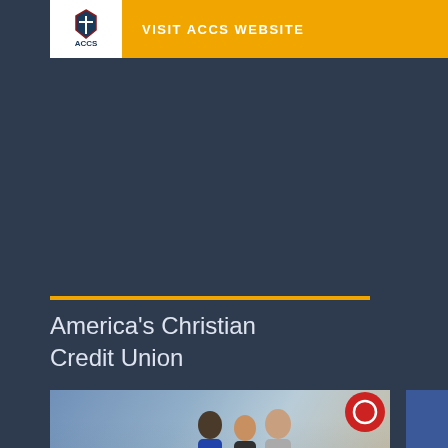[Figure (logo): ACCS logo and Visit ACCS Website banner with gold background and white logo box]
America's Christian Credit Union
[Figure (infographic): America's Christian Credit Union advertisement showing 'Banking with a Purpose' with students photo, services for Schools & Teachers and Parents & Students, and 'Switch to ACCU & Earn Up To $200!' call to action]